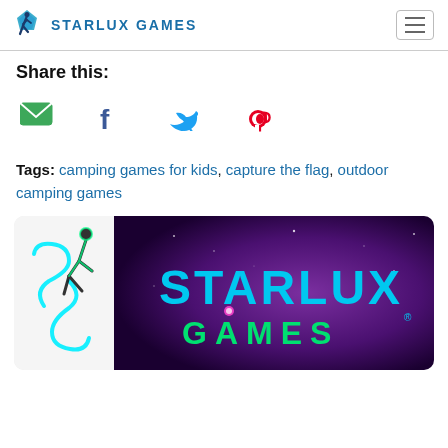STARLUX GAMES
Share this:
[Figure (illustration): Social share icons: email (green envelope), Facebook (blue f), Twitter (blue bird), Pinterest (red P)]
Tags: camping games for kids, capture the flag, outdoor camping games
[Figure (logo): Starlux Games logo banner with glowing neon figure on purple galaxy background, text reads STARLUX GAMES]